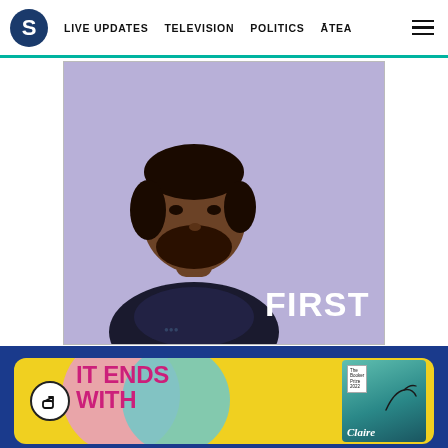S | LIVE UPDATES   TELEVISION   POLITICS   ĀTEA   ≡
[Figure (photo): A man with a beard sitting against a lavender/purple background. White bold text 'FIRST' appears in the lower right of the image.]
[Figure (illustration): Promotional card on a yellow background showing book covers. Text reads 'IT ENDS WITH' in pink/magenta bold letters. A book with a teal cover showing a bird is on the right side. There is a share icon (circle with arrow) on the left. Pink and teal circular decorations in background. Author name 'Claire' visible on right book.]